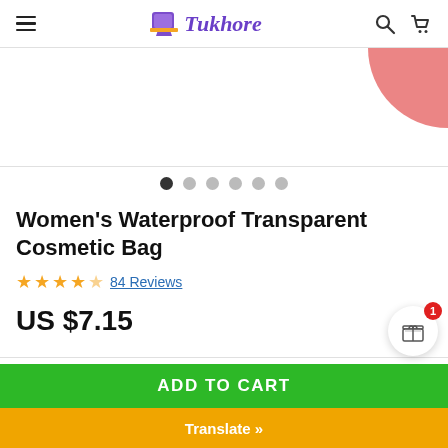Tukhore
[Figure (photo): Product image area showing partial view of a cosmetic bag with pink corner visible]
[Figure (other): Carousel navigation dots — 6 dots, first one active (dark), rest light gray]
Women's Waterproof Transparent Cosmetic Bag
84 Reviews
US $7.15
ADD TO CART
Translate »